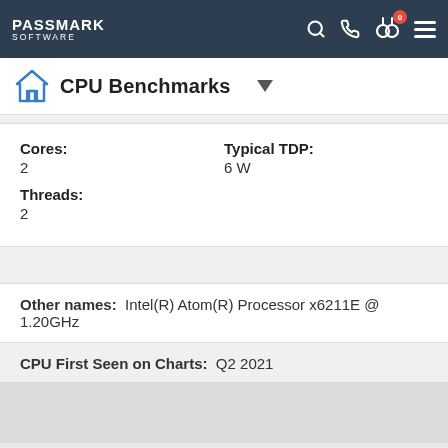PassMark Software — CPU Benchmarks
CPU Benchmarks
| Cores: | Typical TDP: |
| --- | --- |
| 2 | 6 W |
| Threads: |  |
| 2 |  |
Other names: Intel(R) Atom(R) Processor x6211E @ 1.20GHz
CPU First Seen on Charts: Q2 2021